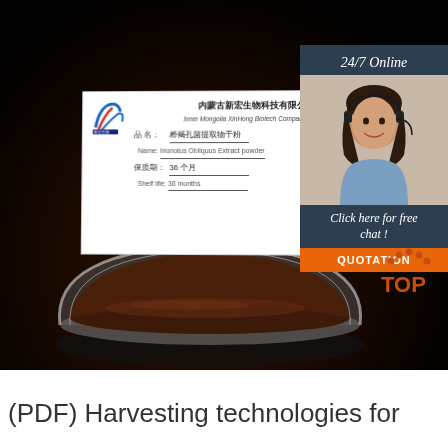[Figure (photo): Product photo of Inonotus Obliquus Extract powder in a glass bowl on black background, with a white product label card showing company name Inner Mongolia XinFong Biotech Company Limited, product name in Chinese and English, shelf life 36 months. Overlay panel on right shows customer service agent with '24/7 Online' text and 'Click here for free chat' with QUOTATION button. TOP logo visible bottom right.]
(PDF) Harvesting technologies for